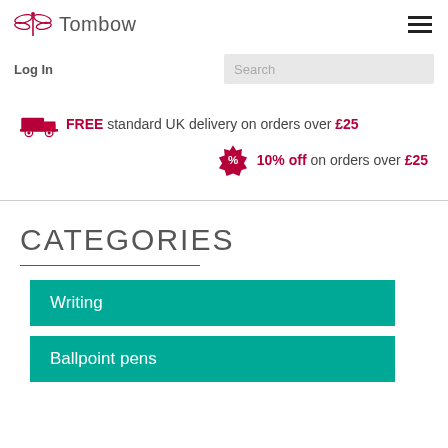Tombow
Log In
Search
FREE standard UK delivery on orders over £25
10% off on orders over £25
CATEGORIES
Writing
Ballpoint pens